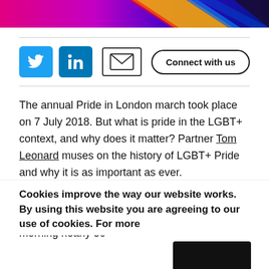[Figure (illustration): Colorful banner image with pink, purple, blue gradient and rainbow stripe diagonal graphic]
[Figure (illustration): Social media sharing bar with Twitter, LinkedIn, email icons and a Connect with us button]
The annual Pride in London march took place on 7 July 2018. But what is pride in the LGBT+ context, and why does it matter? Partner Tom Leonard muses on the history of LGBT+ Pride and why it is as important as ever.
The pride movement as we know it today began on 28 June 1969. In the early hours of the morning nearly 50
Cookies improve the way our website works. By using this website you are agreeing to our use of cookies. For more